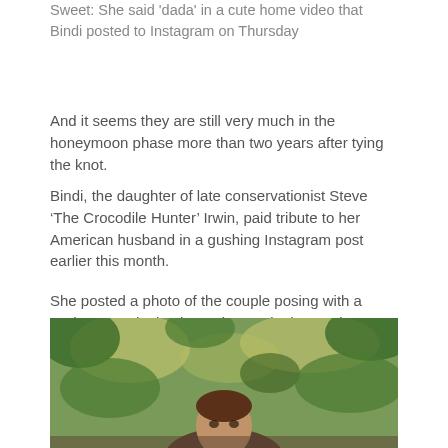Sweet: She said 'dada' in a cute home video that Bindi posted to Instagram on Thursday
And it seems they are still very much in the honeymoon phase more than two years after tying the knot.
Bindi, the daughter of late conservationist Steve ‘The Crocodile Hunter’ Irwin, paid tribute to her American husband in a gushing Instagram post earlier this month.
She posted a photo of the couple posing with a cockatoo and a koala, and wrote in the caption: ‘Most extraordinary man in the world just happens to be my best friend… and my husband. Forever loving you @chandlerpowell ❤. ‘
[Figure (photo): Photo of a person outdoors with green foliage in the background]